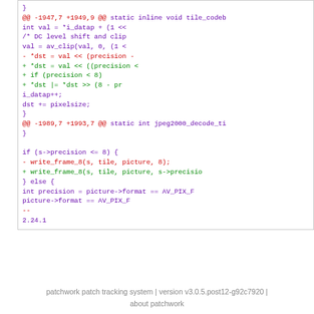[Figure (screenshot): Code diff showing changes to tile_codeb and jpeg2000_decode_ti functions, with removed lines in red and added lines in green, context lines in purple.]
patchwork patch tracking system | version v3.0.5.post12-g92c7920 | about patchwork